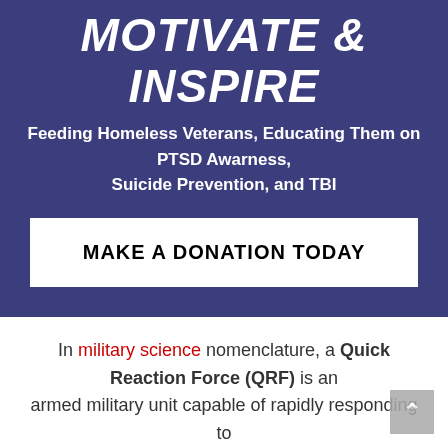MOTIVATE & INSPIRE
Feeding Homeless Veterans, Educating Them on PTSD Awarness, Suicide Prevention, and TBI
MAKE A DONATION TODAY
In military science nomenclature, a Quick Reaction Force (QRF) is an armed military unit capable of rapidly responding to developing situations, typically to assist allied units in need of such assistance. They are to have equipment ready to respond to any type of